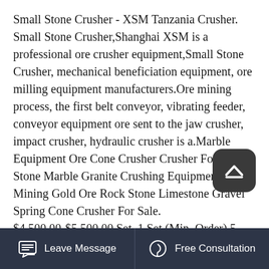Small Stone Crusher - XSM Tanzania Crusher. Small Stone Crusher,Shanghai XSM is a professional ore crusher equipment,Small Stone Crusher, mechanical beneficiation equipment, ore milling equipment manufacturers.Ore mining process, the first belt conveyor, vibrating feeder, conveyor equipment ore sent to the jaw crusher, impact crusher, hydraulic crusher is a.Marble Equipment Ore Cone Crusher Crusher For A Stone Marble Granite Crushing Equipment Mining Gold Ore Rock Stone Limestone Gravel Spring Cone Crusher For Sale. $4,500.00-$5,500.00 Set. 1 Set (Min. Order) 5 YRS CN. Supplier.Apr 01, 2021 Dewo machinery can provides complete set of crushing and screening line, including Hydraulic Cone Crusher, Jaw Crusher, Impact Crusher,
[Figure (other): Dark rounded rectangle button with upward chevron/caret arrow icon, used as a scroll-to-top button]
Leave Message   Free Consultation